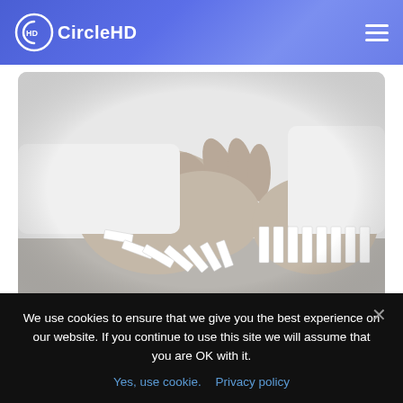CircleHD
[Figure (photo): Black and white photo of a person's hands stopping a line of falling dominoes on a table surface.]
We use cookies to ensure that we give you the best experience on our website. If you continue to use this site we will assume that you are OK with it.
Yes, use cookie.   Privacy policy